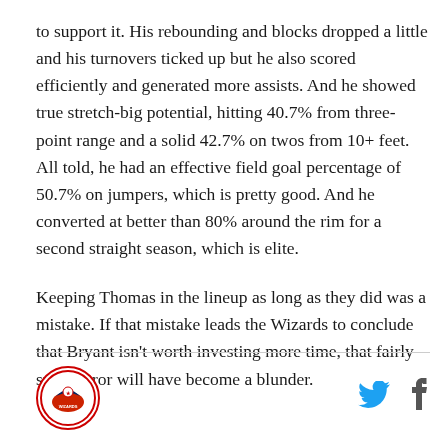to support it. His rebounding and blocks dropped a little and his turnovers ticked up but he also scored efficiently and generated more assists. And he showed true stretch-big potential, hitting 40.7% from three-point range and a solid 42.7% on twos from 10+ feet. All told, he had an effective field goal percentage of 50.7% on jumpers, which is pretty good. And he converted at better than 80% around the rim for a second straight season, which is elite.
Keeping Thomas in the lineup as long as they did was a mistake. If that mistake leads the Wizards to conclude that Bryant isn't worth investing more time, that fairly small error will have become a blunder.
[Figure (logo): Circular sports team logo with red border]